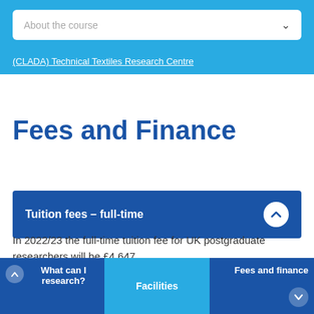About the course
(CLADA) Technical Textiles Research Centre
Fees and Finance
Tuition fees – full-time
In 2022/23 the full-time tuition fee for UK postgraduate researchers will be £4,647.
What can I research? | Facilities | Fees and finance